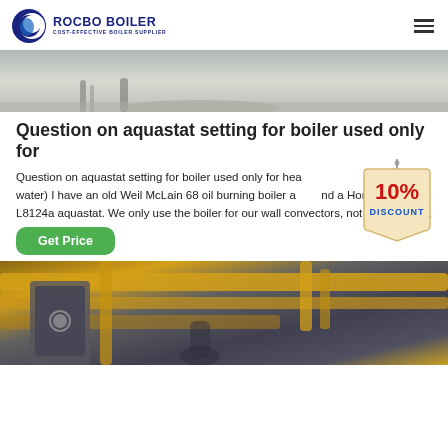[Figure (logo): Rocbo Boiler logo with blue crescent moon icon and text 'ROCBO BOILER / COST-EFFECTIVE BOILER SUPPLIER']
[Figure (photo): Close-up photo of industrial floor with metal pipe/rail elements, light grey concrete floor visible]
Question on aquastat setting for boiler used only for
Question on aquastat setting for boiler used only for heat (not hot water) I have an old Weil McLain 68 oil burning boiler and a Honeywell L8124a aquastat. We only use the boiler for our wall convectors, not for hot water.
[Figure (illustration): 10% DISCOUNT badge/tag hanging from a chain - red text on cream/yellow sign]
Get Price
[Figure (photo): Industrial boiler room with yellow pipes, grey boiler equipment, workers visible in background]